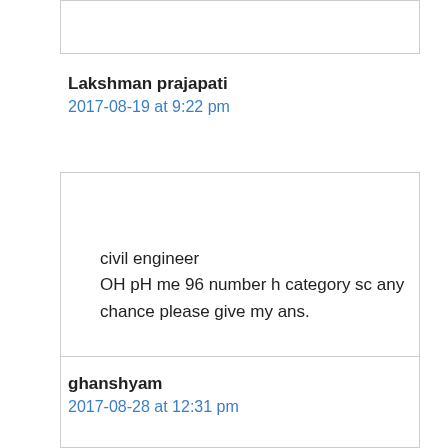Lakshman prajapati
2017-08-19 at 9:22 pm
civil engineer
OH pH me 96 number h category sc any chance please give my ans.
Reply
ghanshyam
2017-08-28 at 12:31 pm